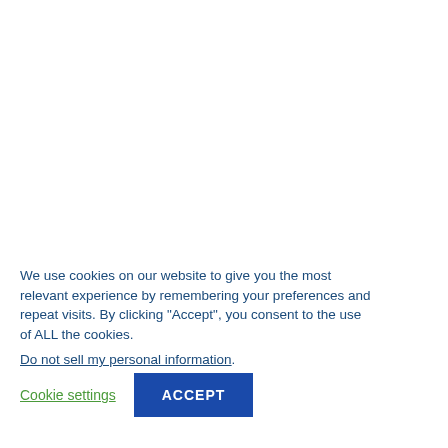We use cookies on our website to give you the most relevant experience by remembering your preferences and repeat visits. By clicking "Accept", you consent to the use of ALL the cookies.
Do not sell my personal information.
Cookie settings
ACCEPT